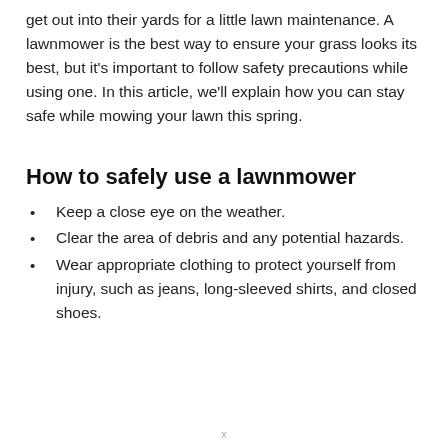get out into their yards for a little lawn maintenance. A lawnmower is the best way to ensure your grass looks its best, but it's important to follow safety precautions while using one. In this article, we'll explain how you can stay safe while mowing your lawn this spring.
How to safely use a lawnmower
Keep a close eye on the weather.
Clear the area of debris and any potential hazards.
Wear appropriate clothing to protect yourself from injury, such as jeans, long-sleeved shirts, and closed shoes.
x